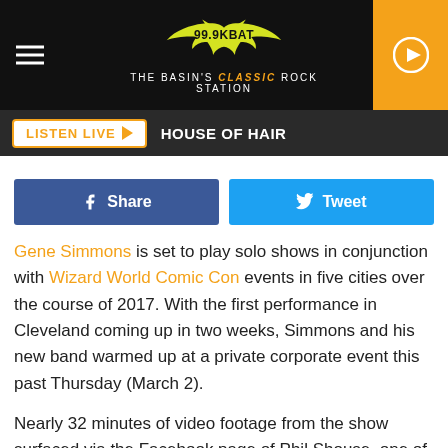99.9 KBAT — The Basin's Classic Rock Station
LISTEN LIVE ▶  HOUSE OF HAIR
Share  Tweet
Gene Simmons is set to play solo shows in conjunction with Wizard World Comic Con events in five cities over the course of 2017. With the first performance in Cleveland coming up in two weeks, Simmons and his new band warmed up at a private corporate event this past Thursday (March 2).
Nearly 32 minutes of video footage from the show surfaced via the Facebook page of Phil Shouse, one of the guitarists on stage with Simmons. Performing without the makeup he made famous in Kiss, Simmons led the band through